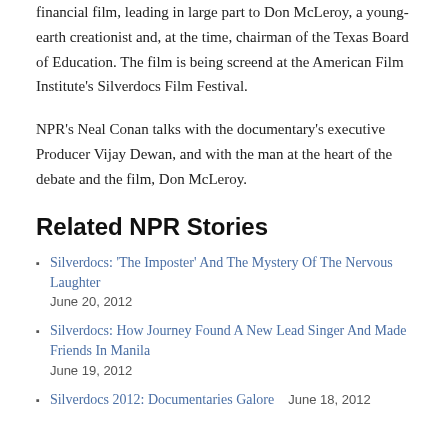financial film, leading in large part to Don McLeroy, a young-earth creationist and, at the time, chairman of the Texas Board of Education. The film is being screend at the American Film Institute's Silverdocs Film Festival.
NPR's Neal Conan talks with the documentary's executive Producer Vijay Dewan, and with the man at the heart of the debate and the film, Don McLeroy.
Related NPR Stories
Silverdocs: 'The Imposter' And The Mystery Of The Nervous Laughter
June 20, 2012
Silverdocs: How Journey Found A New Lead Singer And Made Friends In Manila
June 19, 2012
Silverdocs 2012: Documentaries Galore   June 18, 2012